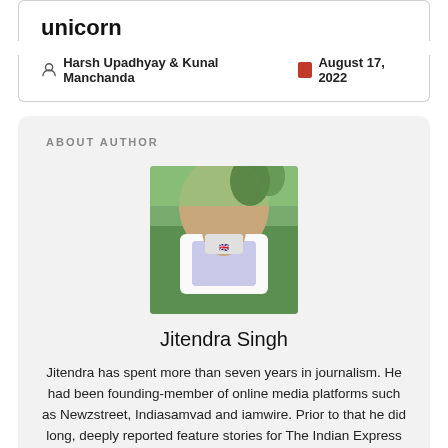unicorn
Harsh Upadhyay & Kunal Manchanda   August 17, 2022
ABOUT AUTHOR
[Figure (photo): Author photo of Jitendra Singh outdoors in a scenic green hilly background, wearing a white Union Jack t-shirt]
Jitendra Singh
Jitendra has spent more than seven years in journalism. He had been founding-member of online media platforms such as Newzstreet, Indiasamvad and iamwire. Prior to that he did long, deeply reported feature stories for The Indian Express and handled desk at IANS. Among the